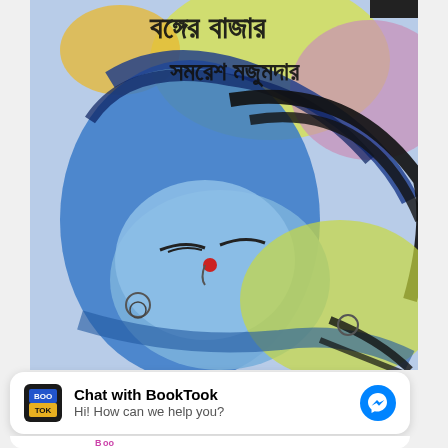[Figure (illustration): Book cover of a Bengali novel showing a watercolor illustration of a woman's face in blue tones with flowing hair, red bindi, and floral/nature elements. Bengali text at top reads title and author name 'Samaresh Majumdar'.]
Chat with BookTook
Hi! How can we help you?